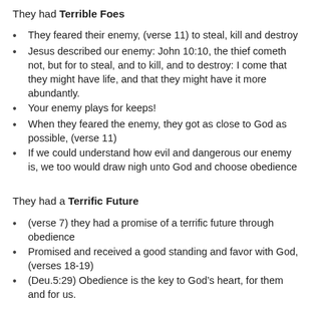They had Terrible Foes
They feared their enemy, (verse 11) to steal, kill and destroy
Jesus described our enemy: John 10:10, the thief cometh not, but for to steal, and to kill, and to destroy: I come that they might have life, and that they might have it more abundantly.
Your enemy plays for keeps!
When they feared the enemy, they got as close to God as possible, (verse 11)
If we could understand how evil and dangerous our enemy is, we too would draw nigh unto God and choose obedience
They had a Terrific Future
(verse 7) they had a promise of a terrific future through obedience
Promised and received a good standing and favor with God, (verses 18-19)
(Deu.5:29) Obedience is the key to God’s heart, for them and for us.